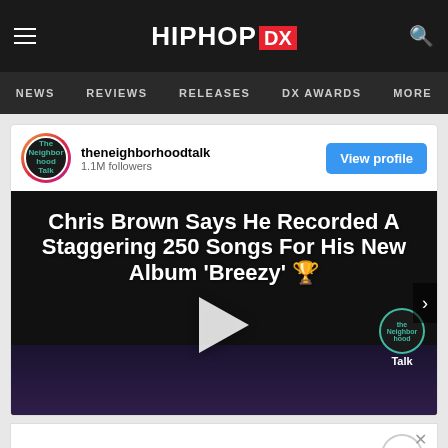HipHopDX — NEWS | REVIEWS | RELEASES | DX AWARDS | MORE
[Figure (screenshot): Instagram post from theneighborhoodtalk with 1.1M followers showing a video thumbnail with text: Chris Brown Says He Recorded A Staggering 250 Songs For His New Album 'Breezy' with play button overlay]
[Figure (infographic): Samsung Galaxy Buds2 Pro advertisement banner]